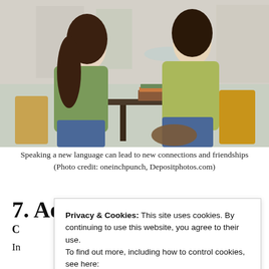[Figure (photo): Two young women sitting at an outdoor cafe table, both wearing green jackets, smiling and talking. Books are stacked on the table between them. The background shows an outdoor plaza or street setting.]
Speaking a new language can lead to new connections and friendships (Photo credit: oneinchpunch, Depositphotos.com)
7. Add another dimension
C
In
Privacy & Cookies: This site uses cookies. By continuing to use this website, you agree to their use. To find out more, including how to control cookies, see here: Cookie Policy